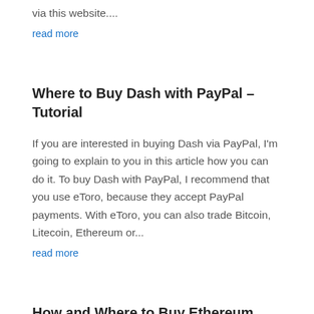via this website....
read more
Where to Buy Dash with PayPal – Tutorial
If you are interested in buying Dash via PayPal, I'm going to explain to you in this article how you can do it. To buy Dash with PayPal, I recommend that you use eToro, because they accept PayPal payments. With eToro, you can also trade Bitcoin, Litecoin, Ethereum or...
read more
How and Where to Buy Ethereum with PayPal – Tutorial
In this tutorial, I'm going to explain step by step